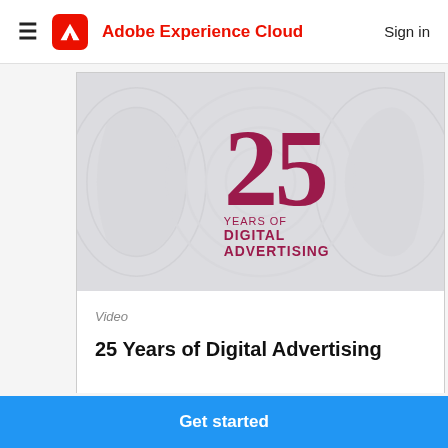Adobe Experience Cloud   Sign in
[Figure (illustration): 25 Years of Digital Advertising logo — large dark red/maroon '25' numeral with concentric circular rings in the background, text below reads 'YEARS OF DIGITAL ADVERTISING' in dark red uppercase]
Video
25 Years of Digital Advertising
Get started